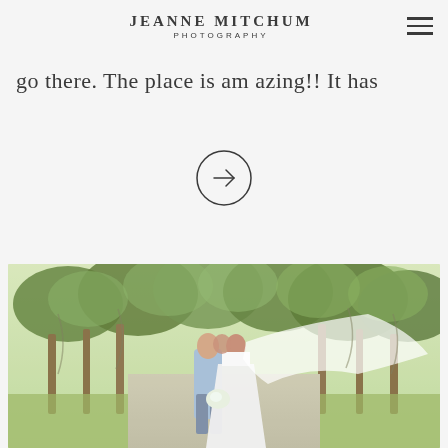JEANNE MITCHUM PHOTOGRAPHY
go there. The place is amazing!! It has
[Figure (illustration): Circular arrow/navigation button pointing right]
[Figure (photo): Wedding couple kissing outdoors under a canopy of large oak trees draped with Spanish moss along a tree-lined avenue. The groom wears a light blue suit and the bride wears a white dress with a long flowing veil. She holds a white bouquet.]